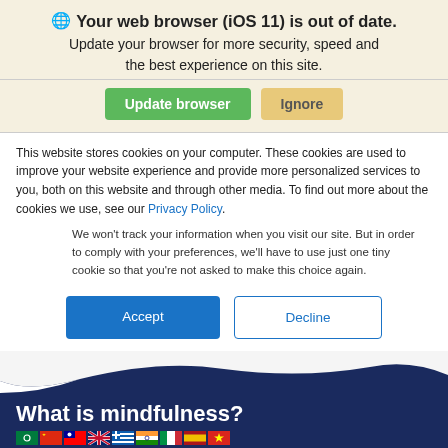Your web browser (iOS 11) is out of date. Update your browser for more security, speed and the best experience on this site.
[Figure (screenshot): Update browser button (green) and Ignore button (tan/yellow)]
This website stores cookies on your computer. These cookies are used to improve your website experience and provide more personalized services to you, both on this website and through other media. To find out more about the cookies we use, see our Privacy Policy.
We won't track your information when you visit our site. But in order to comply with your preferences, we'll have to use just one tiny cookie so that you're not asked to make this choice again.
[Figure (screenshot): Accept button (blue filled) and Decline button (blue outline)]
What is mindfulness?
[Figure (screenshot): Row of country flag icons at bottom of dark blue website section]